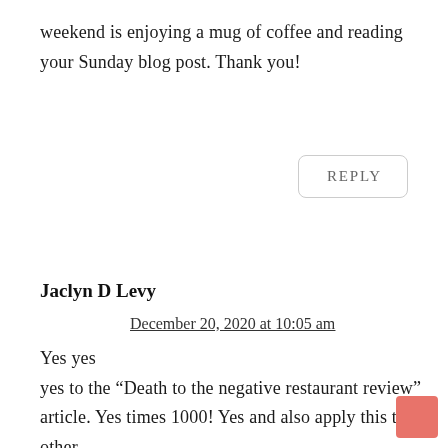weekend is enjoying a mug of coffee and reading your Sunday blog post. Thank you!
REPLY
Jaclyn D Levy
December 20, 2020 at 10:05 am
Yes yes yes to the “Death to the negative restaurant review” article. Yes times 1000! Yes and also apply this to other forms of entertainment journalism! ???! follow a home decor site and this summer